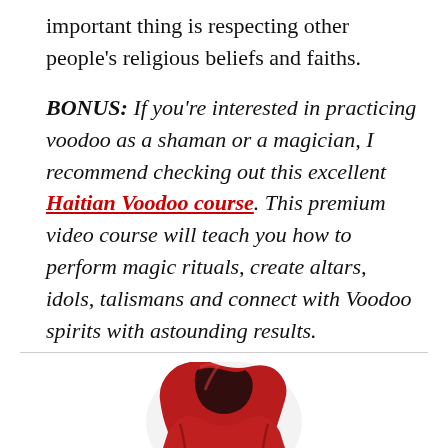important thing is respecting other people's religious beliefs and faiths.
BONUS: If you're interested in practicing voodoo as a shaman or a magician, I recommend checking out this excellent Haitian Voodoo course. This premium video course will teach you how to perform magic rituals, create altars, idols, talismans and connect with Voodoo spirits with astounding results.
[Figure (photo): A person wearing a red hooded cloak, photographed from behind/side, hood up, on a white background]